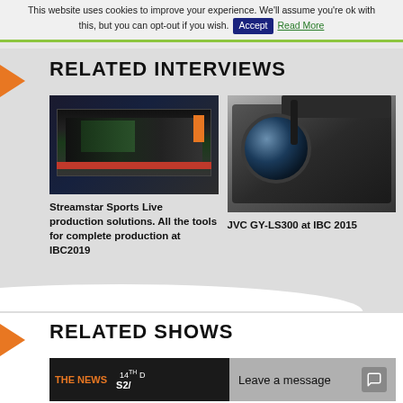This website uses cookies to improve your experience. We'll assume you're ok with this, but you can opt-out if you wish. Accept Read More
RELATED INTERVIEWS
[Figure (photo): Laptop screen showing a sports live production interface with video of players on field, dark UI with orange and red buttons]
[Figure (photo): JVC GY-LS300 professional video camera being held, close-up of lens and body]
Streamstar Sports Live production solutions. All the tools for complete production at IBC2019
JVC GY-LS300 at IBC 2015
RELATED SHOWS
[Figure (screenshot): THE NEWS show thumbnail with episode label 14TH and S2, partially visible with Leave a message overlay]